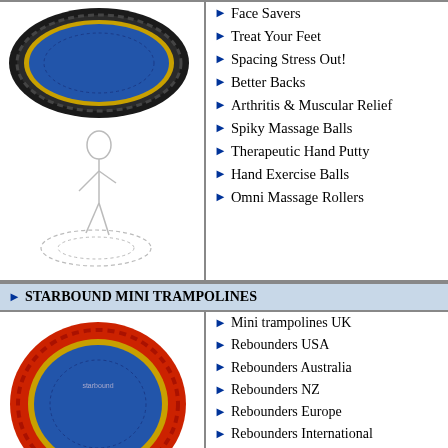[Figure (photo): Mini trampoline with black padding and blue jumping surface, top-down view]
[Figure (illustration): Ghost/outline figure of a person standing on a mini trampoline]
Face Savers
Treat Your Feet
Spacing Stress Out!
Better Backs
Arthritis & Muscular Relief
Spiky Massage Balls
Therapeutic Hand Putty
Hand Exercise Balls
Omni Massage Rollers
STARBOUND MINI TRAMPOLINES
[Figure (photo): Mini trampoline with red padding and blue jumping surface, top-down view]
[Figure (illustration): Ghost/outline figure of a person standing on a mini trampoline]
Mini trampolines UK
Rebounders USA
Rebounders Australia
Rebounders NZ
Rebounders Europe
Rebounders International
Choosing Rebounders
A Quality mini trampoline